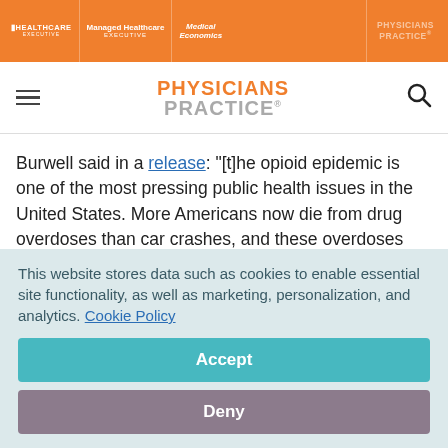HEALTHCARE EXECUTIVE | Managed Healthcare EXECUTIVE | Medical Economics | PHYSICIANS PRACTICE
[Figure (logo): Physicians Practice site logo with hamburger menu and search icon]
Burwell said in a release: "[t]he opioid epidemic is one of the most pressing public health issues in the United States. More Americans now die from drug overdoses than car crashes, and these overdoses have hit families from every walk of life and across our entire nation." The topic has gained widespread media attention, as over 18,893 Americans died
This website stores data such as cookies to enable essential site functionality, as well as marketing, personalization, and analytics. Cookie Policy
Accept
Deny